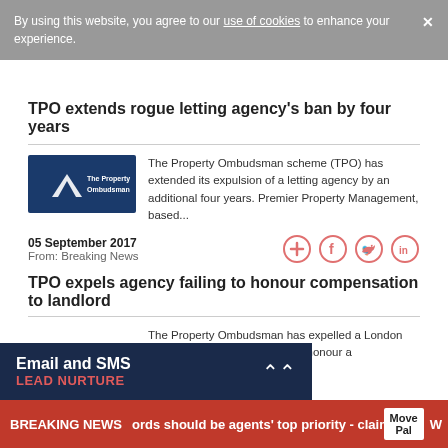By using this website, you agree to our use of cookies to enhance your experience.
TPO extends rogue letting agency's ban by four years
[Figure (logo): The Property Ombudsman logo — dark blue background with white triangle/mountain shape and text 'The Property Ombudsman']
The Property Ombudsman scheme (TPO) has extended its expulsion of a letting agency by an additional four years. Premier Property Management, based...
05 September 2017
From: Breaking News
[Figure (infographic): Social sharing icons: plus/add, Facebook, Twitter, LinkedIn — circular salmon/pink outlined icons]
TPO expels agency failing to honour compensation to landlord
The Property Ombudsman has expelled a London lettings agency after it failed to honour a compensation
Email and SMS LEAD NURTURE
BREAKING NEWS ords should be agents' top priority - claim